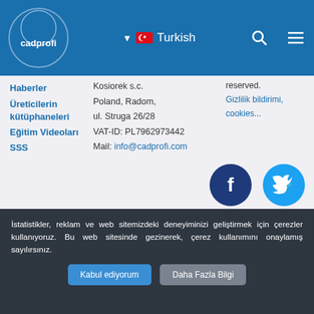cadprofi - Turkish
Haberler
Üreticilerin kütüphaneleri
Eğitim Videoları
SSS
Kosiorek s.c.
Poland, Radom,
ul. Struga 26/28
VAT-ID: PL7962973442
Mail: info@cadprofi.com
reserved.
Gizlilik bildirimi, cookies...
[Figure (logo): Social media icons: Facebook (dark blue circle with f), Twitter (light blue circle with bird), LinkedIn (dark blue circle with in), YouTube (red circle with YouTube logo)]
İstatistikler, reklam ve web sitemizdeki deneyiminizi geliştirmek için çerezler kullanıyoruz. Bu web sitesinde gezinerek, çerez kullanımını onaylamış sayılırsınız.
Kabul ediyorum    Daha Fazla Bilgi